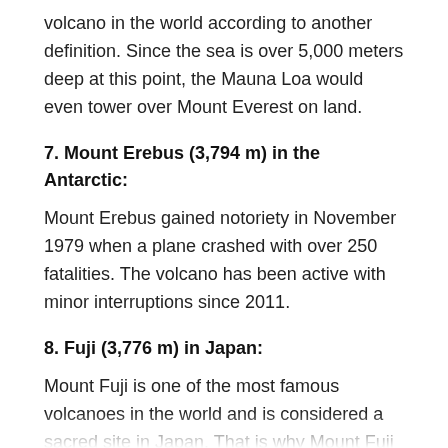volcano in the world according to another definition. Since the sea is over 5,000 meters deep at this point, the Mauna Loa would even tower over Mount Everest on land.
7. Mount Erebus (3,794 m) in the Antarctic:
Mount Erebus gained notoriety in November 1979 when a plane crashed with over 250 fatalities. The volcano has been active with minor interruptions since 2011.
8. Fuji (3,776 m) in Japan:
Mount Fuji is one of the most famous volcanoes in the world and is considered a sacred site in Japan. That is why Mount Fuji is an important place of pilgrimage in Japan. The last eruption was in the early 18th century around 1707/08.
9.Nyiragongo (3,470 m) in Congo:
The Volcano is the highest active volcano in Africa. The